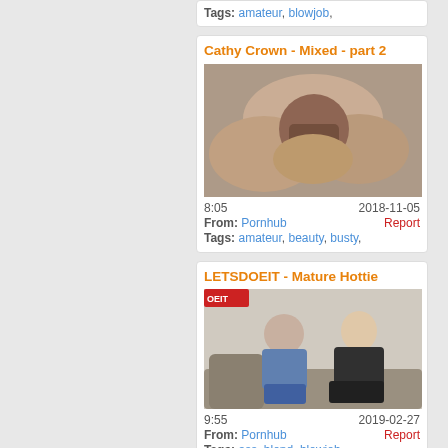Tags: amateur, blowjob,
Cathy Crown - Mixed - part 2
[Figure (photo): Video thumbnail showing explicit adult content]
8:05   2018-11-05   From: Pornhub   Report   Tags: amateur, beauty, busty,
LETSDOEIT - Mature Hottie
[Figure (photo): Video thumbnail showing a man and a blonde woman on a couch]
9:55   2019-02-27   From: Pornhub   Report   Tags: ass, blond, blowjob,